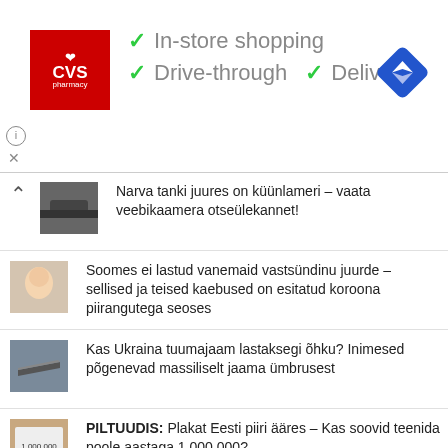[Figure (other): CVS Pharmacy advertisement banner with logo, checkmarks for In-store shopping, Drive-through, Delivery, and a navigation/map icon]
Narva tanki juures on küünlameri – vaata veebikaamera otseülekannet!
Soomes ei lastud vanemaid vastsündinu juurde – sellised ja teised kaebused on esitatud koroona piirangutega seoses
Kas Ukraina tuumajaam lastaksegi õhku? Inimesed põgenevad massiliselt jaama ümbrusest
PILTUUDIS: Plakat Eesti piiri ääres – Kas soovid teenida poole aastaga 1 000 000?
VIDEO: Putin on Krimmi rüüdamise pärast väga vihane – mida võib nüüd oodata?
PILTUUDIS: Euroopas uuliitob hirmus…